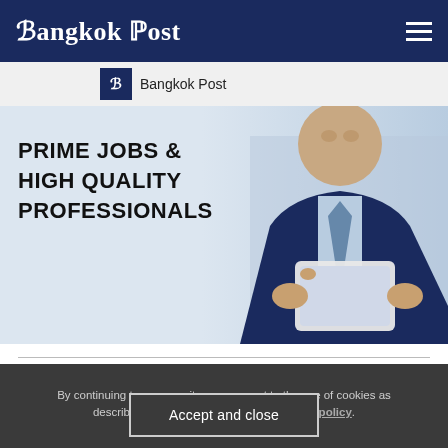Bangkok Post
[Figure (screenshot): Bangkok Post sub-header logo strip with icon and name]
[Figure (photo): Promotional banner showing a businessman in a navy suit holding a tablet, with overlay text: PRIME JOBS & HIGH QUALITY PROFESSIONALS]
By continuing to use our site you consent to the use of cookies as described in our privacy policy and cookies policy.
Accept and close